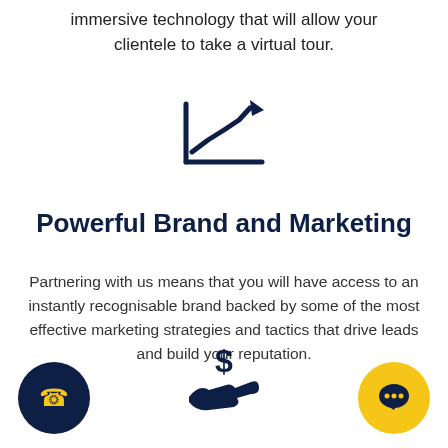immersive technology that will allow your clientele to take a virtual tour.
[Figure (illustration): Dark navy blue line chart icon with upward trending arrow]
Powerful Brand and Marketing
Partnering with us means that you will have access to an instantly recognisable brand backed by some of the most effective marketing strategies and tactics that drive leads and build your reputation.
[Figure (illustration): Dark navy blue hand holding a dollar sign icon]
[Figure (illustration): Dark navy blue circle with yellow phone icon on the left]
[Figure (illustration): Yellow circle with dark navy blue chat bubble icon on the right]